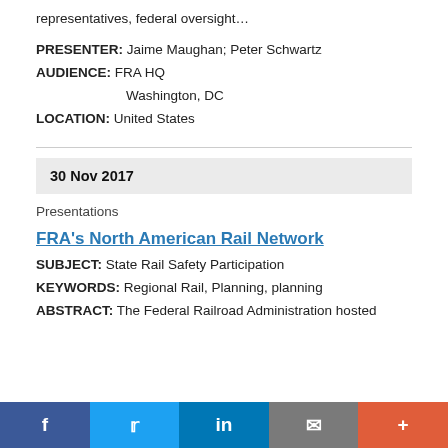representatives, federal oversight…
PRESENTER: Jaime Maughan; Peter Schwartz
AUDIENCE: FRA HQ
Washington, DC
LOCATION: United States
30 Nov 2017
Presentations
FRA's North American Rail Network
SUBJECT: State Rail Safety Participation
KEYWORDS: Regional Rail, Planning, planning
ABSTRACT: The Federal Railroad Administration hosted